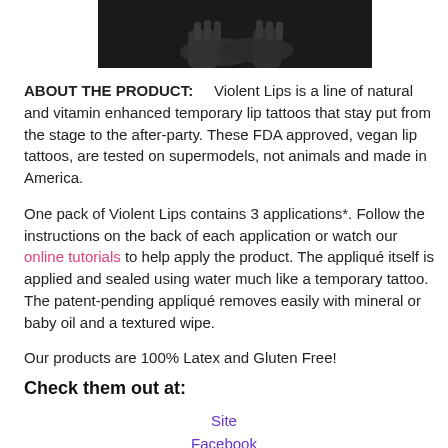[Figure (photo): Cropped photo showing hands/arms of a person against a dark background]
ABOUT THE PRODUCT:      Violent Lips is a line of natural and vitamin enhanced temporary lip tattoos that stay put from the stage to the after-party. These FDA approved, vegan lip tattoos, are tested on supermodels, not animals and made in America.
One pack of Violent Lips contains 3 applications*. Follow the instructions on the back of each application or watch our online tutorials to help apply the product. The appliqué itself is applied and sealed using water much like a temporary tattoo. The patent-pending appliqué removes easily with mineral or baby oil and a textured wipe.
Our products are 100% Latex and Gluten Free!
Check them out at:
Site
Facebook